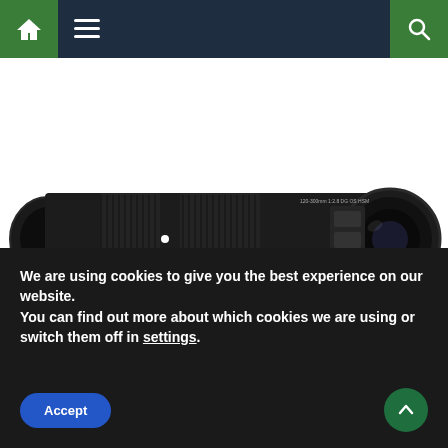[Figure (screenshot): Website navigation bar with home icon (green), hamburger menu icon, and search icon (green) on dark blue background]
[Figure (photo): Large black Sigma camera lens (120-300mm f/2.8 Sport) photographed on white background with tripod collar visible]
Camera Lens
Camera Lenses
Camera Lenses News
New Camera Lenses
New Lenses
Sigma
Sigma
We are using cookies to give you the best experience on our website.
You can find out more about which cookies we are using or switch them off in settings.
Accept